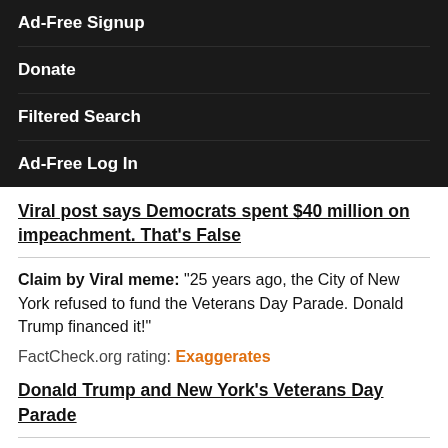Ad-Free Signup
Donate
Filtered Search
Ad-Free Log In
Viral post says Democrats spent $40 million on impeachment. That’s False
Claim by Viral meme: “25 years ago, the City of New York refused to fund the Veterans Day Parade. Donald Trump financed it!”
FactCheck.org rating: Exaggerates
Donald Trump and New York’s Veterans Day Parade